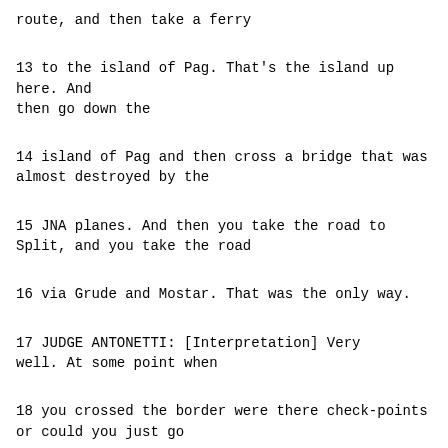route, and then take a ferry
13      to the island of Pag.  That's the island up here.  And then go down the
14      island of Pag and then cross a bridge that was almost destroyed by the
15      JNA planes.  And then you take the road to Split, and you take the road
16      via Grude and Mostar.  That was the only way.
17              JUDGE ANTONETTI: [Interpretation] Very well.  At some point when
18      you crossed the border were there check-points or could you just go